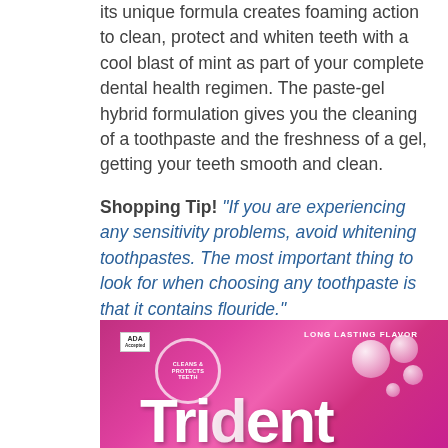its unique formula creates foaming action to clean, protect and whiten teeth with a cool blast of mint as part of your complete dental health regimen. The paste-gel hybrid formulation gives you the cleaning of a toothpaste and the freshness of a gel, getting your teeth smooth and clean.
Shopping Tip! "If you are experiencing any sensitivity problems, avoid whitening toothpastes. The most important thing to look for when choosing any toothpaste is that it contains flouride."
[Figure (photo): Photo of Trident gum packaging - pink/magenta box with ADA Accepted logo, 'Long Lasting Flavor' text, 'Cleans & Protects Teeth' circular badge, and pink bubbles]